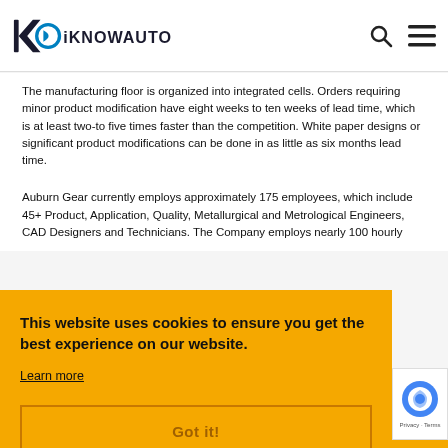IKNOWAUTO logo with search and menu icons
The manufacturing floor is organized into integrated cells. Orders requiring minor product modification have eight weeks to ten weeks of lead time, which is at least two-to five times faster than the competition. White paper designs or significant product modifications can be done in as little as six months lead time.
Auburn Gear currently employs approximately 175 employees, which include 45+ Product, Application, Quality, Metallurgical and Metrological Engineers, CAD Designers and Technicians. The Company employs nearly 100 hourly
This website uses cookies to ensure you get the best experience on our website.
Learn more
Got it!